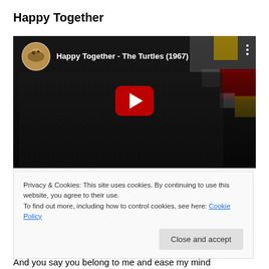Happy Together
[Figure (screenshot): YouTube video thumbnail showing 'Happy Together - The Turtles (1967)' with a band photo in dark tones and a red play button in the center. A circular avatar and video title are shown in the top left, with a three-dot menu in the top right.]
Privacy & Cookies: This site uses cookies. By continuing to use this website, you agree to their use.
To find out more, including how to control cookies, see here: Cookie Policy
Close and accept
And you say you belong to me and ease my mind